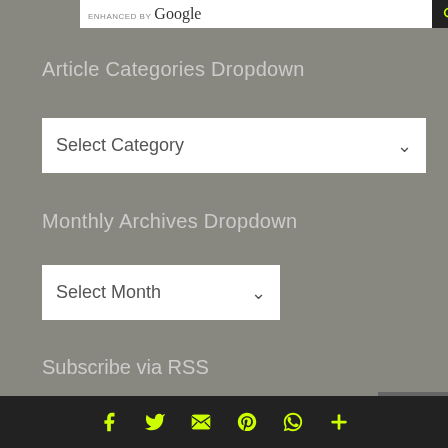[Figure (screenshot): Search bar showing 'ENHANCED BY Google' text with a dark search button on the right]
Article Categories Dropdown
[Figure (screenshot): Dropdown widget showing 'Select Category' with a chevron arrow]
Monthly Archives Dropdown
[Figure (screenshot): Dropdown widget showing 'Select Month' with a chevron arrow]
Subscribe via RSS
[Figure (screenshot): Green circle icon partially visible at bottom, scroll-to-top button on the right]
Social icons: Facebook, Twitter, Email, Pinterest, WhatsApp, Plus